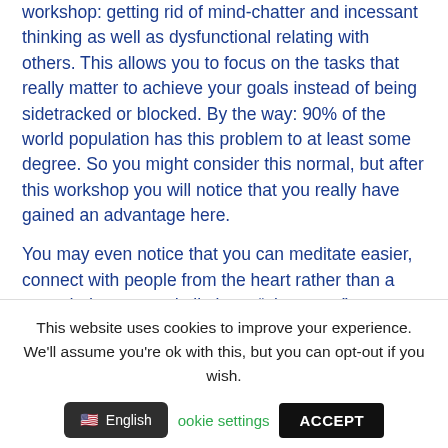workshop: getting rid of mind-chatter and incessant thinking as well as dysfunctional relating with others. This allows you to focus on the tasks that really matter to achieve your goals instead of being sidetracked or blocked. By the way: 90% of the world population has this problem to at least some degree. So you might consider this normal, but after this workshop you will notice that you really have gained an advantage here.

You may even notice that you can meditate easier, connect with people from the heart rather than a wounded space and eliminate “ping-pong” games and
This website uses cookies to improve your experience. We'll assume you're ok with this, but you can opt-out if you wish.